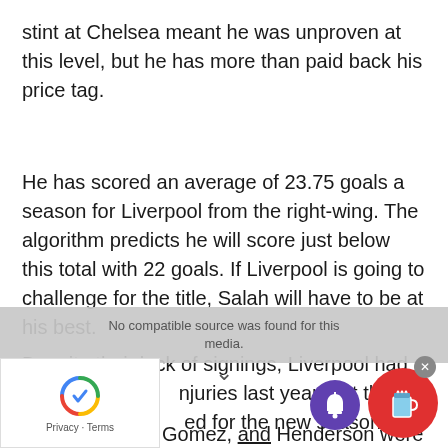stint at Chelsea meant he was unproven at this level, but he has more than paid back his price tag.
He has scored an average of 23.75 goals a season for Liverpool from the right-wing. The algorithm predicts he will score just below this total with 22 goals. If Liverpool is going to challenge for the title, Salah will have to be at his best.
Despite their lack of signings, Liverpool had so many injuries last year that they will be significantly strengthened for the new season. Players such as Van Dijk, Fabinho, Gomez, and Henderson were all